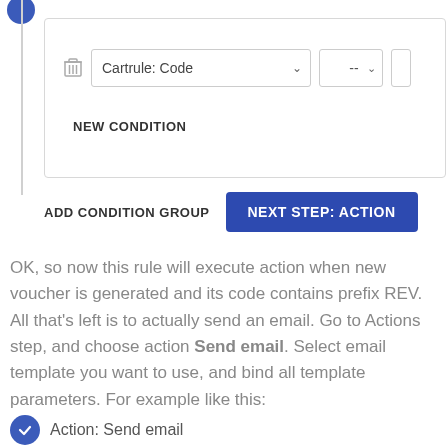[Figure (screenshot): UI screenshot showing a condition rule panel with 'Cartrule: Code' dropdown, a '--' dropdown, and a partially visible field. Below the row is a 'NEW CONDITION' button. At the bottom of the panel section are two buttons: 'ADD CONDITION GROUP' and 'NEXT STEP: ACTION' (blue).]
OK, so now this rule will execute action when new voucher is generated and its code contains prefix REV. All that's left is to actually send an email. Go to Actions step, and choose action Send email. Select email template you want to use, and bind all template parameters. For example like this:
Action: Send email